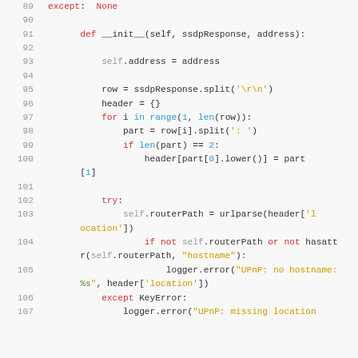Code listing lines 89-107, Python source code showing __init__ method with SSDP response parsing
89    except:  None
90
91        def __init__(self, ssdpResponse, address):
92
93            self.address = address
94
95            row = ssdpResponse.split('\r\n')
96            header = {}
97            for i in range(1, len(row)):
98                part = row[i].split(': ')
99                if len(part) == 2:
100                    header[part[0].lower()] = part[1]
101
102            try:
103                self.routerPath = urlparse(header['location'])
104                if not self.routerPath or not hasattr(self.routerPath, "hostname"):
105                    logger.error("UPnP: no hostname: %s", header['location'])
106        except KeyError:
107            logger.error("UPnP: missing location